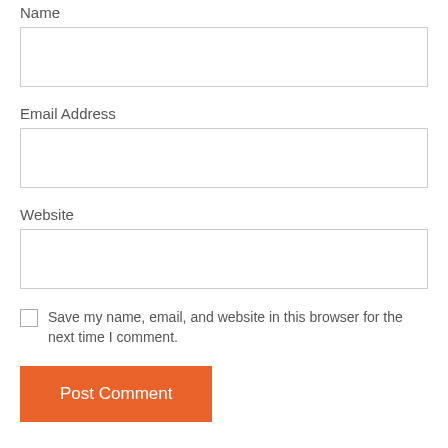Name
[Figure (other): Text input field for Name]
Email Address
[Figure (other): Text input field for Email Address]
Website
[Figure (other): Text input field for Website]
Save my name, email, and website in this browser for the next time I comment.
[Figure (other): Post Comment button, orange background]